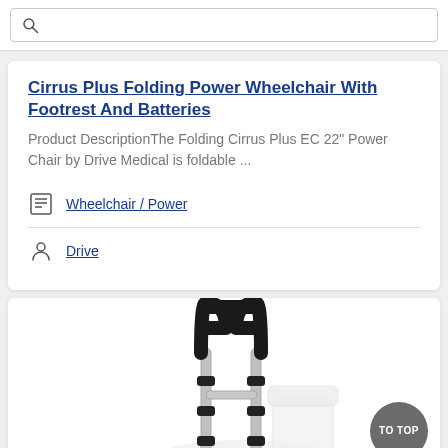Search bar
Cirrus Plus Folding Power Wheelchair With Footrest And Batteries
Product DescriptionThe Folding Cirrus Plus EC 22" Power Chair by Drive Medical is foldable ...
Wheelchair / Power
Drive
[Figure (photo): Photo of a toilet safety rail / grab bar product, showing a U-shaped black handle on silver aluminum tubular frame, positioned next to a toilet]